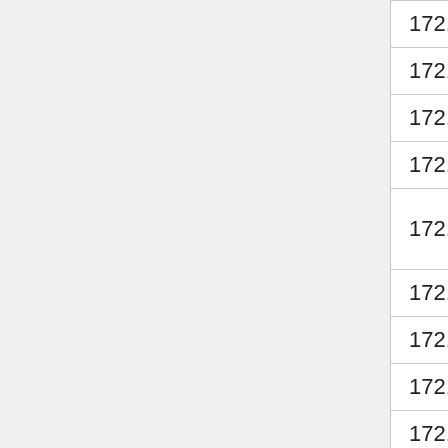| IP | Name | Type |
| --- | --- | --- |
| 172.31.0.166/32 | p1tt1 | lap… |
| 172.31.0.170/32 | xavi | Ho… |
| 172.31.0.177/32 | xelt | lap… |
| 172.31.0.200/32 | Upzatrus | Ho… |
| 172.31.0.209/32 | Battousai | Pe… Co… |
| 172.31.0.210/32 | toshi4 | Us… |
| 172.31.0.218/32 | gabriel | Us… |
| 172.31.0.219/32 | sentry | Us… |
| 172.31.0.220/32 | smithsonian | Us… |
| 172.31.0.221/32 | ironx1 | Us… |
| 172.31.0.222/32 | mrspider | Us… |
| 172.31.0.223/32 | failimechul | Us… |
| 172.31.0.224/32 | dlrh | Us… |
| 172.31.0.225/32 | ritsukaa | Us… |
| 172.31.0.245/32 | itpunks | Us… |